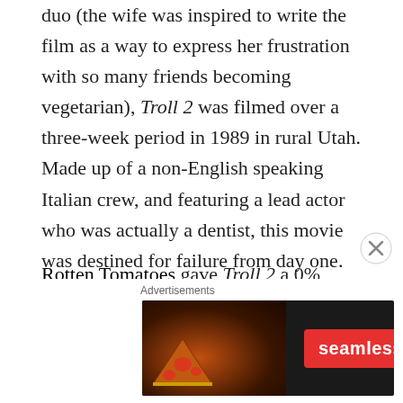duo (the wife was inspired to write the film as a way to express her frustration with so many friends becoming vegetarian), Troll 2 was filmed over a three-week period in 1989 in rural Utah. Made up of a non-English speaking Italian crew, and featuring a lead actor who was actually a dentist, this movie was destined for failure from day one.
Rotten Tomatoes gave Troll 2 a 0% rating, and it's the lowest-ranked film on IMDB. And the fact is, because the film is so astoundingly horrible it is also extraordinarily wonderful. We all have favorite bad
[Figure (other): Seamless food delivery advertisement banner showing pizza image, Seamless logo in red, and ORDER NOW button]